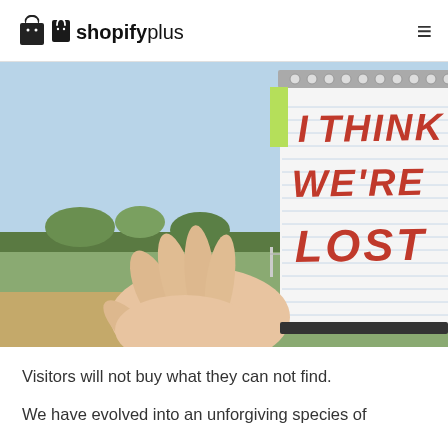shopifyplus
[Figure (photo): A hand holding a notepad with 'I THINK WE'RE LOST' written in red marker, with an outdoor background.]
Visitors will not buy what they can not find.
We have evolved into an unforgiving species of